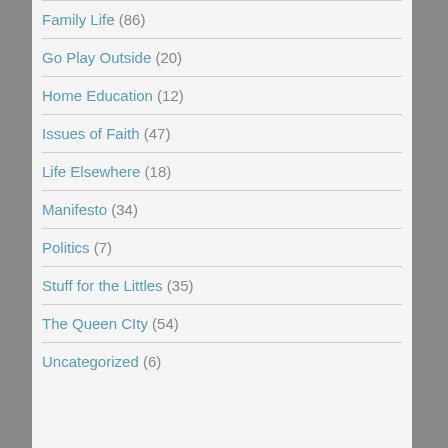Family Life (86)
Go Play Outside (20)
Home Education (12)
Issues of Faith (47)
Life Elsewhere (18)
Manifesto (34)
Politics (7)
Stuff for the Littles (35)
The Queen CIty (54)
Uncategorized (6)